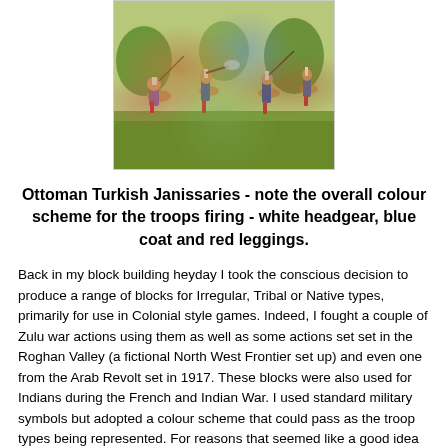[Figure (illustration): Painting of Ottoman Turkish Janissaries soldiers in battle, wearing white headgear, blue coats and red leggings, engaged in combat.]
Ottoman Turkish Janissaries - note the overall colour scheme for the troops firing - white headgear, blue coat and red leggings.
Back in my block building heyday I took the conscious decision to produce a range of blocks for Irregular, Tribal or Native types, primarily for use in Colonial style games. Indeed, I fought a couple of Zulu war actions using them as well as some actions set set in the Roghan Valley (a fictional North West Frontier set up) and even one from the Arab Revolt set in 1917. These blocks were also used for Indians during the French and Indian War. I used standard military symbols but adopted a colour scheme that could pass as the troop types being represented. For reasons that seemed like a good idea at the time I also produced a number of blocks that I intended to use as, of all things, Ottoman Turkish